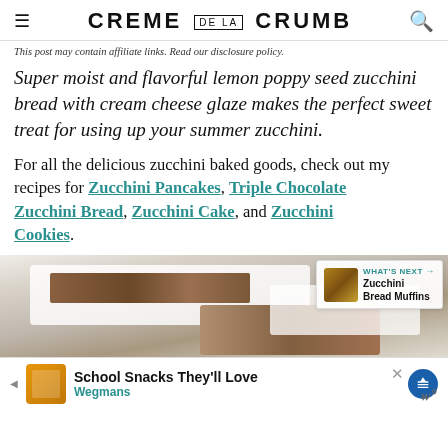CREME DE LA CRUMB
This post may contain affiliate links. Read our disclosure policy.
Super moist and flavorful lemon poppy seed zucchini bread with cream cheese glaze makes the perfect sweet treat for using up your summer zucchini.
For all the delicious zucchini baked goods, check out my recipes for Zucchini Pancakes, Triple Chocolate Zucchini Bread, Zucchini Cake, and Zucchini Cookies.
[Figure (photo): Photo of lemon poppy seed zucchini bread slices with white cream cheese glaze, with a 'WHAT'S NEXT: Zucchini Bread Muffins' overlay in top right corner.]
School Snacks They'll Love
Wegmans